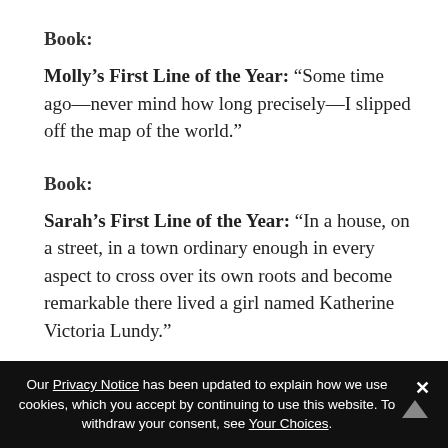Book:
Molly’s First Line of the Year: “Some time ago—never mind how long precisely—I slipped off the map of the world.”
Book:
Sarah’s First Line of the Year: “In a house, on a street, in a town ordinary enough in every aspect to cross over its own roots and become remarkable there lived a girl named Katherine Victoria Lundy.”
Book:
Our Privacy Notice has been updated to explain how we use cookies, which you accept by continuing to use this website. To withdraw your consent, see Your Choices.